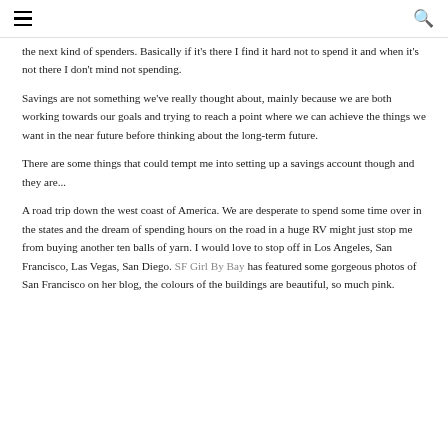≡  🔍
the next kind of spenders. Basically if it's there I find it hard not to spend it and when it's not there I don't mind not spending.
Savings are not something we've really thought about, mainly because we are both working towards our goals and trying to reach a point where we can achieve the things we want in the near future before thinking about the long-term future.
There are some things that could tempt me into setting up a savings account though and they are...
A road trip down the west coast of America. We are desperate to spend some time over in the states and the dream of spending hours on the road in a huge RV might just stop me from buying another ten balls of yarn. I would love to stop off in Los Angeles, San Francisco, Las Vegas, San Diego. SF Girl By Bay has featured some gorgeous photos of San Francisco on her blog, the colours of the buildings are beautiful, so much pink.